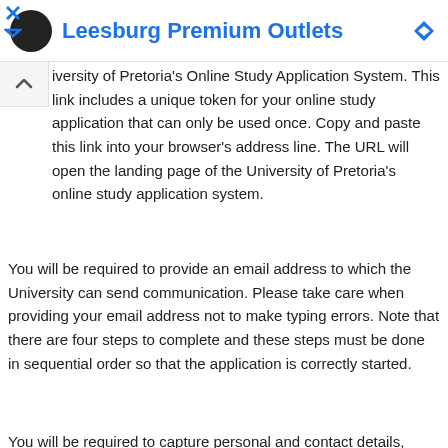Leesburg Premium Outlets
iversity of Pretoria's Online Study Application System. This link includes a unique token for your online study application that can only be used once. Copy and paste this link into your browser's address line. The URL will open the landing page of the University of Pretoria's online study application system.
You will be required to provide an email address to which the University can send communication. Please take care when providing your email address not to make typing errors. Note that there are four steps to complete and these steps must be done in sequential order so that the application is correctly started.
You will be required to capture personal and contact details, provide your previous tertiary education